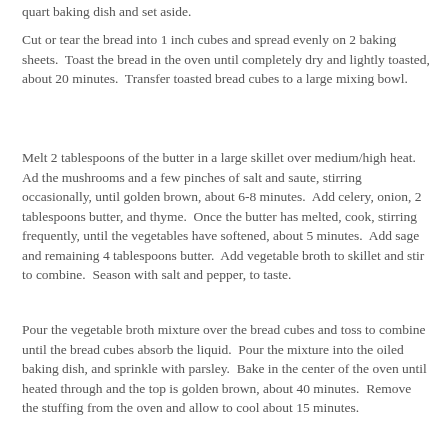quart baking dish and set aside.
Cut or tear the bread into 1 inch cubes and spread evenly on 2 baking sheets.  Toast the bread in the oven until completely dry and lightly toasted, about 20 minutes.  Transfer toasted bread cubes to a large mixing bowl.
Melt 2 tablespoons of the butter in a large skillet over medium/high heat.  Ad the mushrooms and a few pinches of salt and saute, stirring occasionally, until golden brown, about 6-8 minutes.  Add celery, onion, 2 tablespoons butter, and thyme.  Once the butter has melted, cook, stirring frequently, until the vegetables have softened, about 5 minutes.  Add sage and remaining 4 tablespoons butter.  Add vegetable broth to skillet and stir to combine.  Season with salt and pepper, to taste.
Pour the vegetable broth mixture over the bread cubes and toss to combine until the bread cubes absorb the liquid.  Pour the mixture into the oiled baking dish, and sprinkle with parsley.  Bake in the center of the oven until heated through and the top is golden brown, about 40 minutes.  Remove the stuffing from the oven and allow to cool about 15 minutes...